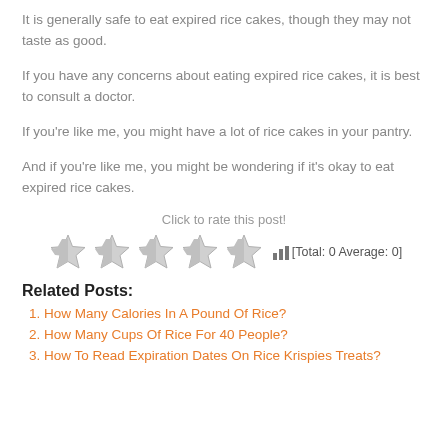It is generally safe to eat expired rice cakes, though they may not taste as good.
If you have any concerns about eating expired rice cakes, it is best to consult a doctor.
If you're like me, you might have a lot of rice cakes in your pantry.
And if you're like me, you might be wondering if it's okay to eat expired rice cakes.
Click to rate this post!
[Figure (other): Five star rating icons (empty/grey stars) with bar chart icon and text [Total: 0 Average: 0]]
Related Posts:
How Many Calories In A Pound Of Rice?
How Many Cups Of Rice For 40 People?
How To Read Expiration Dates On Rice Krispies Treats?